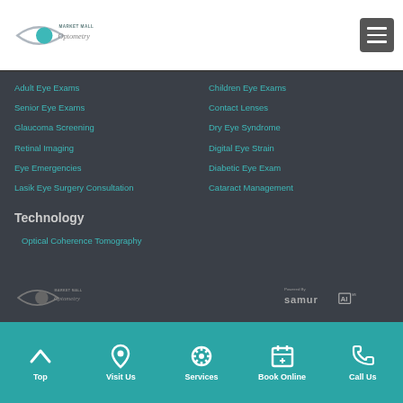[Figure (logo): Market Mall Optometry logo with eye graphic]
[Figure (other): Hamburger menu button]
Adult Eye Exams
Children Eye Exams
Senior Eye Exams
Contact Lenses
Glaucoma Screening
Dry Eye Syndrome
Retinal Imaging
Digital Eye Strain
Eye Emergencies
Diabetic Eye Exam
Lasik Eye Surgery Consultation
Cataract Management
Technology
Optical Coherence Tomography
[Figure (logo): Market Mall Optometry footer logo]
[Figure (logo): Powered by SamurAI logo]
Top | Visit Us | Services | Book Online | Call Us